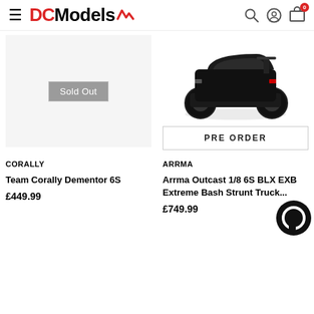DC Models
[Figure (photo): Left product slot showing 'Sold Out' badge on grey background — Team Corally Dementor 6S]
[Figure (photo): Black RC monster truck (Arrma Outcast 1/8 6S BLX EXB) with PRE ORDER button below]
CORALLY
Team Corally Dementor 6S
£449.99
ARRMA
Arrma Outcast 1/8 6S BLX EXB Extreme Bash Strunt Truck...
£749.99